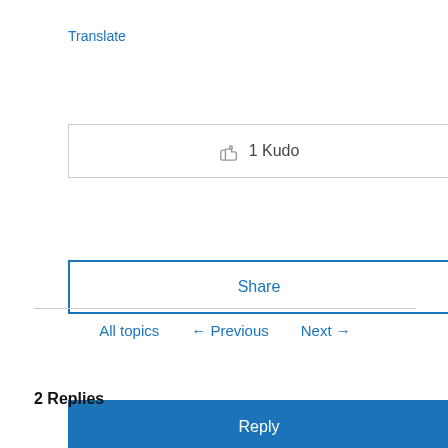Translate
1 Kudo
Share
Reply
All topics  ← Previous  Next →
2 Replies